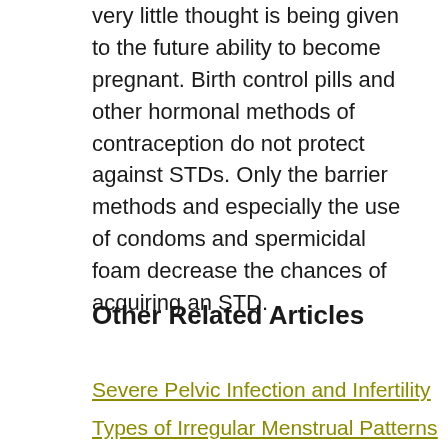very little thought is being given to the future ability to become pregnant. Birth control pills and other hormonal methods of contraception do not protect against STDs. Only the barrier methods and especially the use of condoms and spermicidal foam decrease the chances of acquiring an STD.
Other Related Articles
Severe Pelvic Infection and Infertility
Types of Irregular Menstrual Patterns